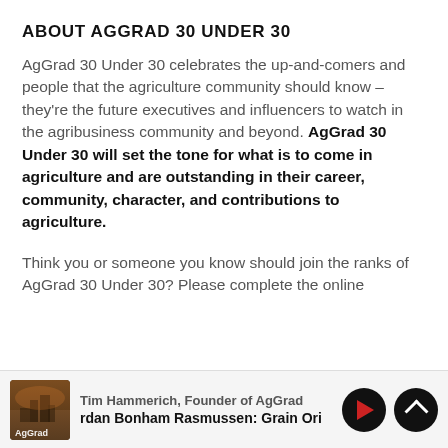ABOUT AGGRAD 30 UNDER 30
AgGrad 30 Under 30 celebrates the up-and-comers and people that the agriculture community should know – they're the future executives and influencers to watch in the agribusiness community and beyond. AgGrad 30 Under 30 will set the tone for what is to come in agriculture and are outstanding in their career, community, character, and contributions to agriculture.
Think you or someone you know should join the ranks of AgGrad 30 Under 30? Please complete the online
[Figure (other): Podcast player bar showing AgGrad thumbnail image, host name Tim Hammerich Founder of AgGrad, episode title rdan Bonham Rasmussen: Grain Ori, with play and scroll-up control buttons]